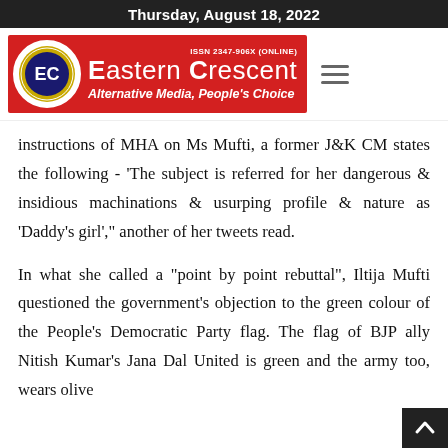Thursday, August 18, 2022
[Figure (logo): Eastern Crescent newspaper logo banner with red background, circular EC logo, ISSN 2347-906X (ONLINE), title 'EASTERN CRESCENT', subtitle 'Alternative Media, People's Choice', and hamburger menu icon]
instructions of MHA on Ms Mufti, a former J&K CM states the following - 'The subject is referred for her dangerous & insidious machinations & usurping profile & nature as 'Daddy's girl'," another of her tweets read.
In what she called a "point by point rebuttal", Iltija Mufti questioned the government's objection to the green colour of the People's Democratic Party flag. The flag of BJP ally Nitish Kumar's Jana Dal United is green and the army too, wears olive